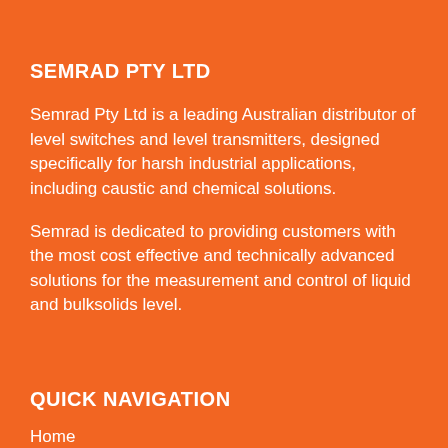SEMRAD PTY LTD
Semrad Pty Ltd is a leading Australian distributor of level switches and level transmitters, designed specifically for harsh industrial applications, including caustic and chemical solutions.
Semrad is dedicated to providing customers with the most cost effective and technically advanced solutions for the measurement and control of liquid and bulksolids level.
QUICK NAVIGATION
Home